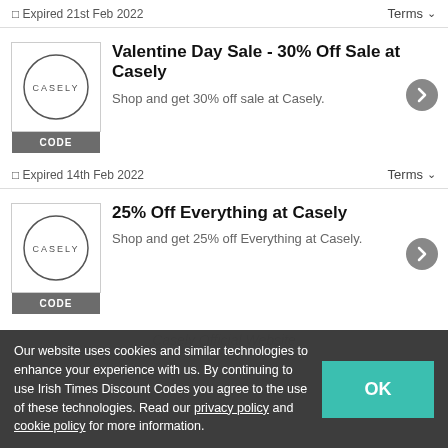Expired 21st Feb 2022
Terms
Valentine Day Sale - 30% Off Sale at Casely
Shop and get 30% off sale at Casely.
Expired 14th Feb 2022
Terms
25% Off Everything at Casely
Shop and get 25% off Everything at Casely.
Our website uses cookies and similar technologies to enhance your experience with us. By continuing to use Irish Times Discount Codes you agree to the use of these technologies. Read our privacy policy and cookie policy for more information.